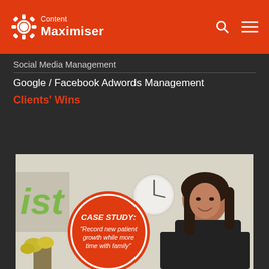Content Maximiser
Social Media Management
Google / Facebook Adwords Management
Clients' Wins
[Figure (photo): Woman in black top smiling in an office setting with a clock on the wall and green plant signage visible. A red circular badge overlay reads: CASE STUDY: "Record new patient growth while more time with family"]